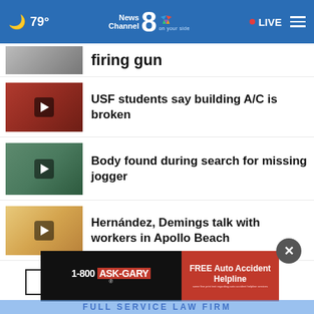🌙 79° News Channel 8 on your side LIVE
firing gun
USF students say building A/C is broken
Body found during search for missing jogger
Hernández, Demings talk with workers in Apollo Beach
More Stories ›
[Figure (screenshot): 1-800 ASK-GARY advertisement banner — FREE Auto Accident Helpline]
FULL SERVICE LAW FIRM